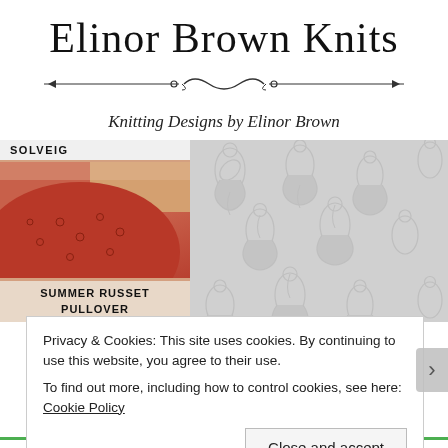Elinor Brown Knits
[Figure (illustration): Decorative horizontal divider line with ornamental scroll design in the center]
Knitting Designs by Elinor Brown
[Figure (photo): Left panel showing SOLVEIG label at top, red/crimson knitted sweater with lace pattern detail on shoulder, and SUMMER RUSSET PULLOVER label at bottom. Right panel showing large grey floral damask pattern background.]
Privacy & Cookies: This site uses cookies. By continuing to use this website, you agree to their use.
To find out more, including how to control cookies, see here: Cookie Policy
Close and accept